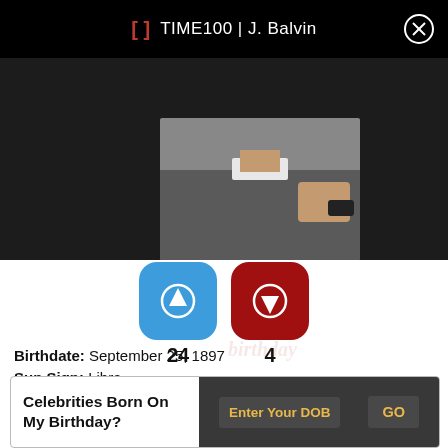TIME100 | J. Balvin
[Figure (photo): Partial photo of a person in a jacket holding a phone, cropped at the neck/shoulders, shown against dark background]
24  4
Birthdate: September 25, 1897
Sun Sign: Libra
Birthplace: New Albany, Mississippi, United States
Died: July 6, 1962
Celebrities Born On My Birthday?  Enter Your DOB  GO